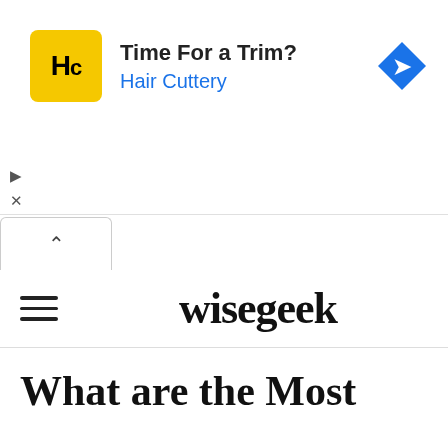[Figure (screenshot): Advertisement banner for Hair Cuttery with yellow HC logo, text 'Time For a Trim? Hair Cuttery', and a blue navigation diamond icon on the right. Ad controls (play and close) visible on left side.]
wisegeek
What are the Most